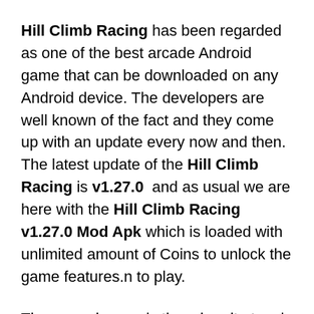Hill Climb Racing has been regarded as one of the best arcade Android game that can be downloaded on any Android device. The developers are well known of the fact and they come up with an update every now and then. The latest update of the Hill Climb Racing is v1.27.0  and as usual we are here with the Hill Climb Racing v1.27.0 Mod Apk which is loaded with unlimited amount of Coins to unlock the game features.n to play.
The normal game is though quite tough to start